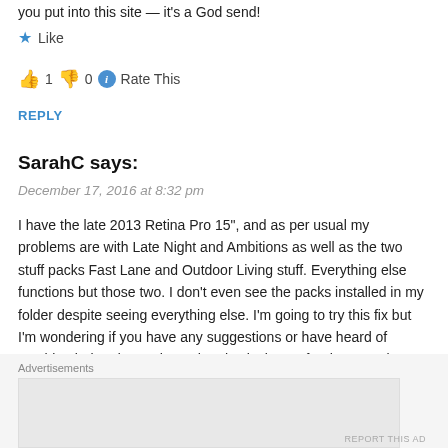you put into this site — it's a God send!
★ Like
👍 1  👎 0  ℹ Rate This
REPLY
SarahC says:
December 17, 2016 at 8:32 pm
I have the late 2013 Retina Pro 15", and as per usual my problems are with Late Night and Ambitions as well as the two stuff packs Fast Lane and Outdoor Living stuff. Everything else functions but those two. I don't even see the packs installed in my folder despite seeing everything else. I'm going to try this fix but I'm wondering if you have any suggestions or have heard of anything being done. I have the physical CD's for those packs as well, so I'm
Advertisements